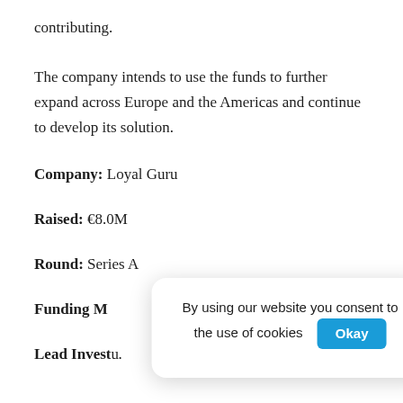contributing.
The company intends to use the funds to further expand across Europe and the Americas and continue to develop its solution.
Company: Loyal Guru
Raised: €8.0M
Round: Series A
Funding M[ethod partially obscured]
Lead Invest[or partially obscured]
By using our website you consent to the use of cookies  Okay